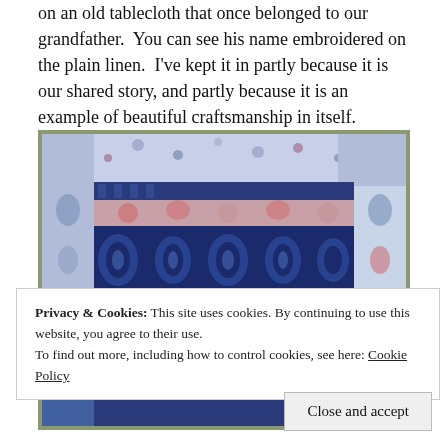on an old tablecloth that once belonged to our grandfather. You can see his name embroidered on the plain linen. I've kept it in partly because it is our shared story, and partly because it is an example of beautiful craftsmanship in itself.
[Figure (photo): A photograph of a patchwork quilt featuring blue and white fabric panels with floral and decorative patterns, including cyanotype-style prints of figures in the center panels.]
Privacy & Cookies: This site uses cookies. By continuing to use this website, you agree to their use.
To find out more, including how to control cookies, see here: Cookie Policy
Close and accept